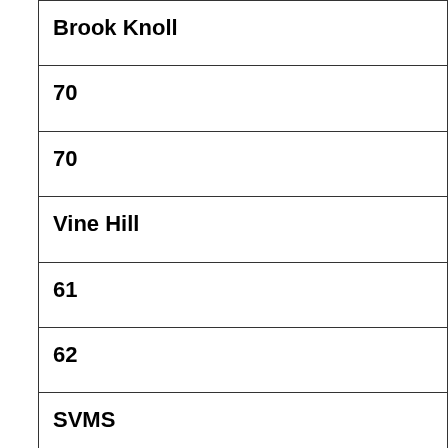| Brook Knoll |
| 70 |
| 70 |
| Vine Hill |
| 61 |
| 62 |
| SVMS |
| 69 |
| 61 |